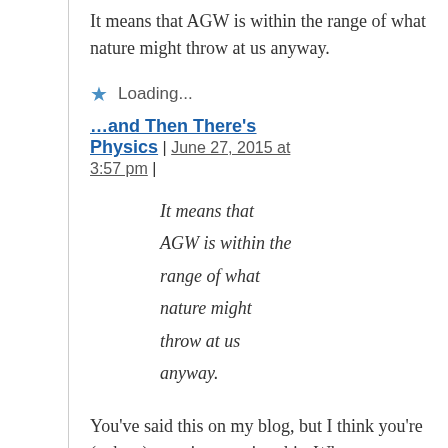It means that AGW is within the range of what nature might throw at us anyway.
Loading...
…and Then There's Physics | June 27, 2015 at 3:57 pm |
It means that AGW is within the range of what nature might throw at us anyway.
You've said this on my blog, but I think you're (at best) over-interpreting this. What